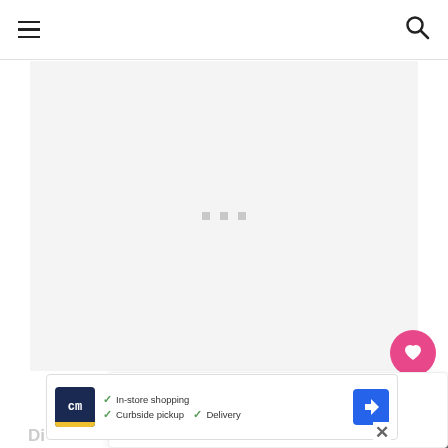Navigation bar with hamburger menu and search icon
[Figure (screenshot): Large image placeholder area with light gray background and three small gray loading dots centered]
[Figure (infographic): Pink heart/like button with count 456 and share button (circular with share icon)]
WHAT'S NEXT → 5 Tips For New Runners...
[Figure (screenshot): Advertisement banner for Curbside Market showing: In-store shopping, Curbside pickup, Delivery; with logo, checkmarks, and navigation icon]
Di...